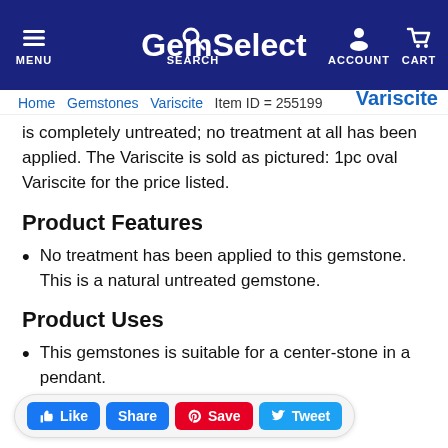GemSelect — MENU | SEARCH | ACCOUNT | CART
Home > Gemstones > Variscite   Item ID = 255199   Variscite is completely untreated; no treatment at all has been applied. The Variscite is sold as pictured: 1pc oval Variscite for the price listed.
Product Features
No treatment has been applied to this gemstone. This is a natural untreated gemstone.
Product Uses
This gemstones is suitable for a center-stone in a pendant.